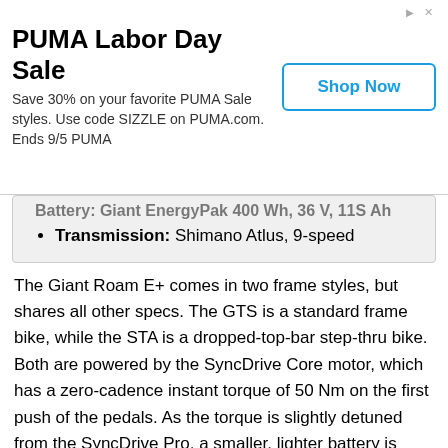[Figure (screenshot): PUMA Labor Day Sale advertisement banner with 'Shop Now' button]
Battery: Giant EnergyPak 400 Wh, 36 V, 11S/Ah (partially visible/cut off)
Transmission: Shimano Atlus, 9-speed
The Giant Roam E+ comes in two frame styles, but shares all other specs. The GTS is a standard frame bike, while the STA is a dropped-top-bar step-thru bike. Both are powered by the SyncDrive Core motor, which has a zero-cadence instant torque of 50 Nm on the first push of the pedals. As the torque is slightly detuned from the SyncDrive Pro, a smaller, lighter battery is fitted with the same range expectations as the EnergyPak Smart Compact.
The Roam E+ is designed to be a trekking bike that seems most of its use offroad. This is evidenced by the Suntour NEX E25 front forks with 63mm of suspension travel, and a